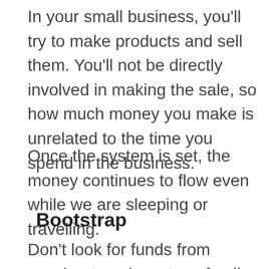In your small business, you'll try to make products and sell them. You'll not be directly involved in making the sale, so how much money you make is unrelated to the time you spend in the business.
Once the system is set, the money continues to flow even while we are sleeping or travelling.
Bootstrap
Don't look for funds from accelerators, investors, family, friends, VC, or anything else